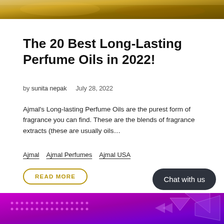[Figure (photo): Top portion of a product photo showing perfume oils with warm golden/amber tones]
The 20 Best Long-Lasting Perfume Oils in 2022!
by sunita nepak    July 28, 2022
Ajmal's Long-lasting Perfume Oils are the purest form of fragrance you can find. These are the blends of fragrance extracts (these are usually oils…
Ajmal
Ajmal Perfumes
Ajmal USA
READ MORE
[Figure (screenshot): Chat with us button, dark rounded rectangle]
[Figure (illustration): Bottom purple/magenta banner with decorative dots and geometric shapes]